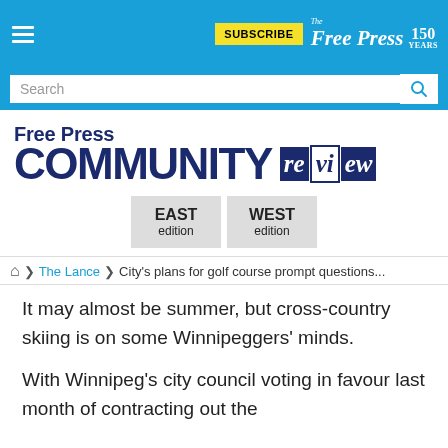SUBSCRIBE | The Free Press 150 YEARS
[Figure (logo): Free Press Community Review logo with EAST edition and WEST edition buttons]
Home > The Lance > City's plans for golf course prompt questions...
It may almost be summer, but cross-country skiing is on some Winnipeggers' minds.
With Winnipeg's city council voting in favour last month of contracting out the